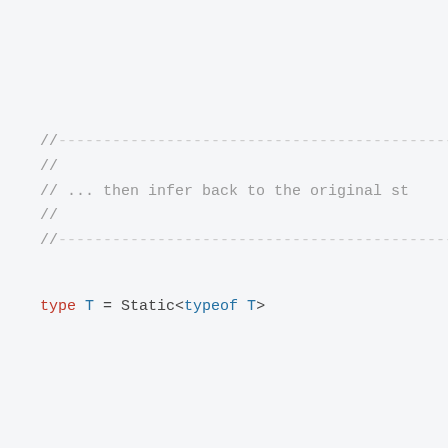//-------------------------------------------------
//
// ... then infer back to the original st
//
//-------------------------------------------------
type T = Static<typeof T>
//-------------------------------------------------
//
// ... then use the type both as JSON sch
//
//-------------------------------------------------
function receive(value: T) {